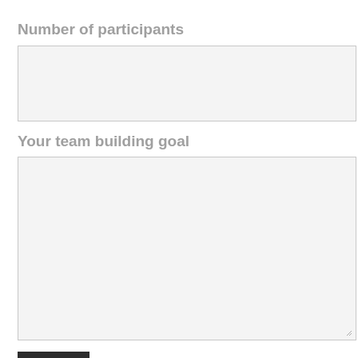Number of participants
[Figure (other): Single-line text input field for number of participants]
Your team building goal
[Figure (other): Multi-line textarea for team building goal with resize handle]
Submit